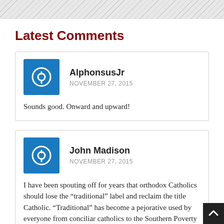Latest Comments
AlphonsusJr
NOVEMBER 27, 2015
Sounds good. Onward and upward!
John Madison
NOVEMBER 27, 2015
I have been spouting off for years that orthodox Catholics should lose the “traditional” label and reclaim the title Catholic. “Traditional” has become a pejorative used by everyone from conciliar catholics to the Southern Poverty Law Center.
There is no thing as a “liberal,” “conservative,” or